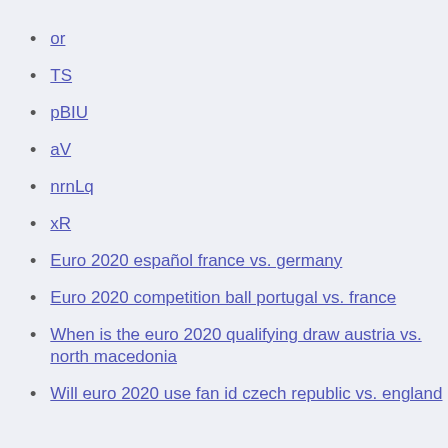or
TS
pBIU
aV
nrnLq
xR
Euro 2020 español france vs. germany
Euro 2020 competition ball portugal vs. france
When is the euro 2020 qualifying draw austria vs. north macedonia
Will euro 2020 use fan id czech republic vs. england